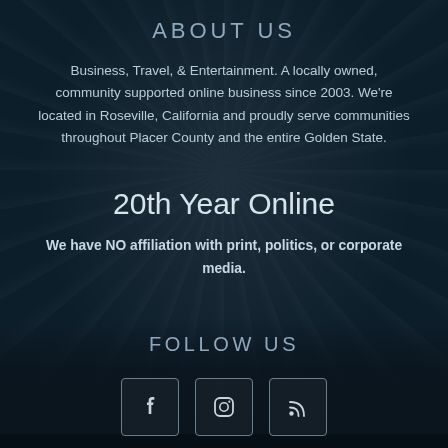ABOUT US
Business, Travel, & Entertainment. A locally owned, community supported online business since 2003. We're located in Roseville, California and proudly serve communities throughout Placer County and the entire Golden State.
20th Year Online
We have NO affiliation with print, politics, or corporate media.
FOLLOW US
[Figure (infographic): Three social media icon buttons in square boxes: Facebook (f), Instagram (camera/square), and RSS feed icon]